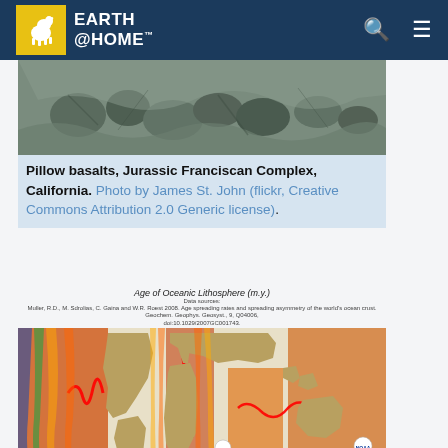EARTH @HOME
[Figure (photo): Pillow basalts rock formation, Jurassic Franciscan Complex, California. Dark gray-green rounded rock pillows.]
Pillow basalts, Jurassic Franciscan Complex, California. Photo by James St. John (flickr, Creative Commons Attribution 2.0 Generic license).
[Figure (map): Age of Oceanic Lithosphere (m.y.) world map showing plate boundaries and age of ocean floor, color-coded from red (young) to blue (old). Data source: Muller, R.D., M. Sdrolias, C. Gaina and W.R. Roest 2008. Age spreading rates and spreading asymmetry of the world's ocean crust. Geochem. Geophys. Geosyst., 9, Q04006, doi:10.1029/2007GC001743.]
Map of the world showing plate boundaries